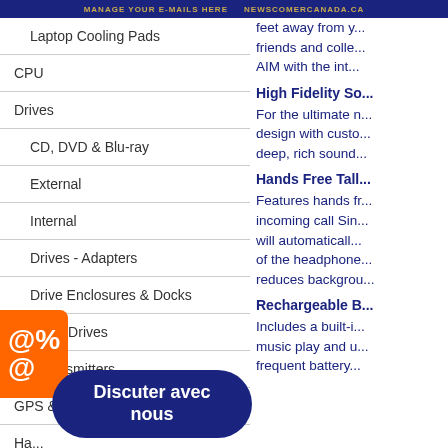Manage your e-mails here / Newscomercanada.ca
Laptop Cooling Pads
CPU
Drives
CD, DVD & Blu-ray
External
Internal
Drives - Adapters
Drive Enclosures & Docks
Flash Drives
FM Transmitters
GPS & Vehicle Cameras
Ha...
Hea...
Ink - for Inkjets Printers
feet away from y... friends and colle... AIM with the int...
High Fidelity So...
For the ultimate n... design with custo... deep, rich sound...
Hands Free Tall...
Features hands fr... incoming call Sin... will automaticall... of the headphone... reduces backgrou...
Rechargeable B...
Includes a built-i... music play and u... frequent battery...